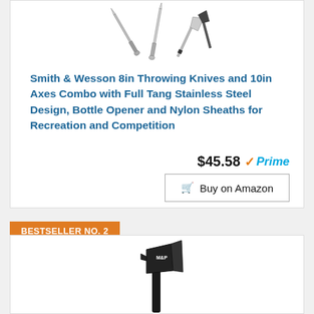[Figure (photo): Smith & Wesson throwing knives and axes product photo on white background]
Smith & Wesson 8in Throwing Knives and 10in Axes Combo with Full Tang Stainless Steel Design, Bottle Opener and Nylon Sheaths for Recreation and Competition
$45.58 ✓Prime
🛒  Buy on Amazon
BESTSELLER NO. 2
[Figure (photo): Smith & Wesson M&P black tactical axe/tomahawk on white background]